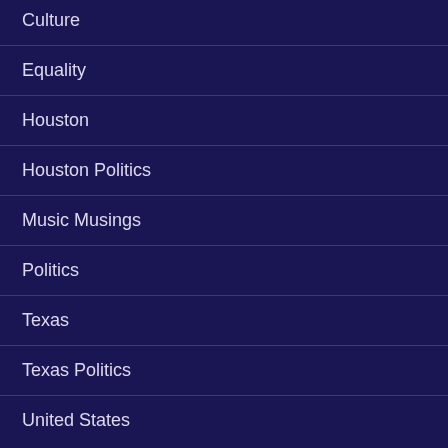Culture
Equality
Houston
Houston Politics
Music Musings
Politics
Texas
Texas Politics
United States
ARCHIVES
November 2020 (1)